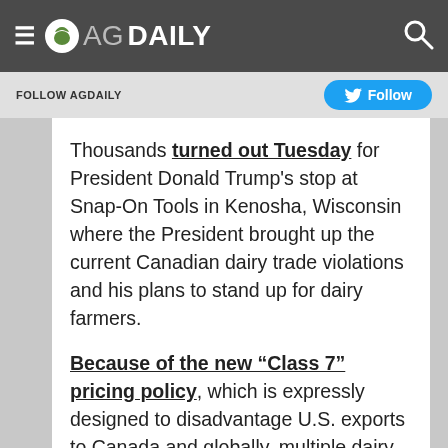AG DAILY
FOLLOW AGDAILY  Follow
Thousands turned out Tuesday for President Donald Trump's stop at Snap-On Tools in Kenosha, Wisconsin where the President brought up the current Canadian dairy trade violations and his plans to stand up for dairy farmers.
Because of the new “Class 7” pricing policy, which is expressly designed to disadvantage U.S. exports to Canada and globally, multiple dairy companies in Wisconsin and New York have been forced to inform many of their supplying farmers that the Canadian market for their exports has dried up. For some farmers, this means that the company processing their milk and shipping it up North can no longer accept it starting in May. This is a direct consequence of the country’s National